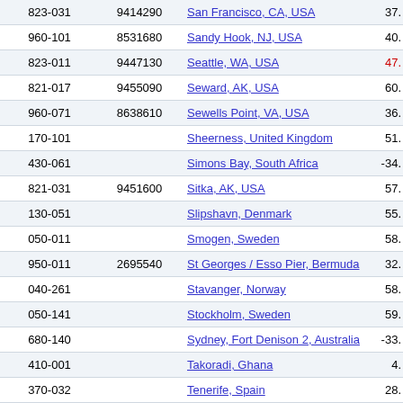| Code | Station ID | Location | Value |
| --- | --- | --- | --- |
| 823-031 | 9414290 | San Francisco, CA, USA | 37. |
| 960-101 | 8531680 | Sandy Hook, NJ, USA | 40. |
| 823-011 | 9447130 | Seattle, WA, USA | 47. |
| 821-017 | 9455090 | Seward, AK, USA | 60. |
| 960-071 | 8638610 | Sewells Point, VA, USA | 36. |
| 170-101 |  | Sheerness, United Kingdom | 51. |
| 430-061 |  | Simons Bay, South Africa | -34. |
| 821-031 | 9451600 | Sitka, AK, USA | 57. |
| 130-051 |  | Slipshavn, Denmark | 55. |
| 050-011 |  | Smogen, Sweden | 58. |
| 950-011 | 2695540 | St Georges / Esso Pier, Bermuda | 32. |
| 040-261 |  | Stavanger, Norway | 58. |
| 050-141 |  | Stockholm, Sweden | 59. |
| 680-140 |  | Sydney, Fort Denison 2, Australia | -33. |
| 410-001 |  | Takoradi, Ghana | 4. |
| 370-032 |  | Tenerife, Spain | 28. |